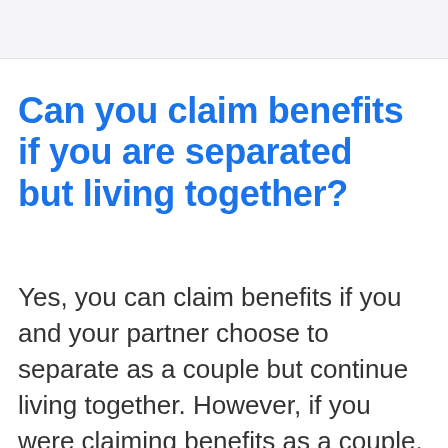[Figure (other): Top image area or header banner, light gray background]
Can you claim benefits if you are separated but living together?
Yes, you can claim benefits if you and your partner choose to separate as a couple but continue living together. However, if you were claiming benefits as a couple, they may be reduced to single person claims. On the other hand, being separated may make